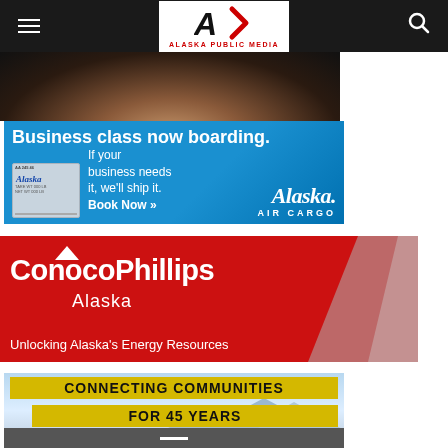Alaska Public Media navigation bar
[Figure (photo): Partial photo of a person, dark background, showing shoulder/neck area]
[Figure (illustration): Alaska Air Cargo advertisement. Blue background. Text: 'Business class now boarding. If your business needs it, we'll ship it. Book Now ». Alaska AIR CARGO']
[Figure (illustration): ConocoPhillips Alaska advertisement. Red background with diagonal gray element. Text: 'ConocoPhillips Alaska. Unlocking Alaska's Energy Resources']
[Figure (illustration): Connecting Communities advertisement. Road and mountain background. Text: 'CONNECTING COMMUNITIES FOR 45 YEARS']